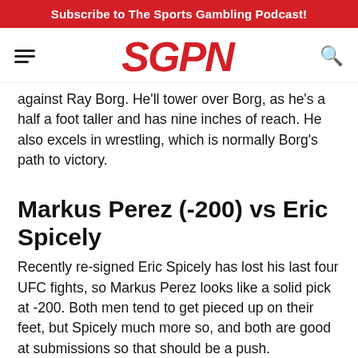Subscribe to The Sports Gambling Podcast!
[Figure (logo): SGPN logo in red italic bold text with hamburger menu and search icon]
against Ray Borg. He'll tower over Borg, as he's a half a foot taller and has nine inches of reach. He also excels in wrestling, which is normally Borg's path to victory.
Markus Perez (-200) vs Eric Spicely
Recently re-signed Eric Spicely has lost his last four UFC fights, so Markus Perez looks like a solid pick at -200. Both men tend to get pieced up on their feet, but Spicely much more so, and both are good at submissions so that should be a push.